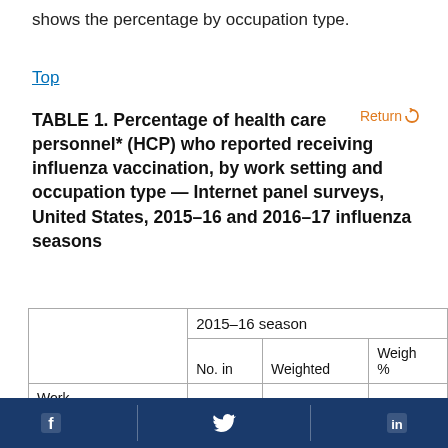shows the percentage by occupation type.
Top
TABLE 1. Percentage of health care personnel* (HCP) who reported receiving influenza vaccination, by work setting and occupation type — Internet panel surveys, United States, 2015–16 and 2016–17 influenza seasons
| Work setting/Occupation | No. in | Weighted | Weighted % |
| --- | --- | --- | --- |